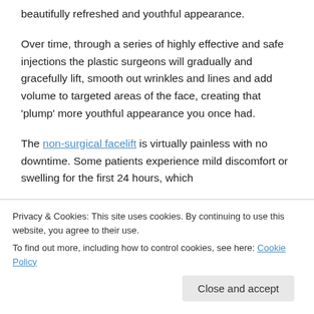beautifully refreshed and youthful appearance.
Over time, through a series of highly effective and safe injections the plastic surgeons will gradually and gracefully lift, smooth out wrinkles and lines and add volume to targeted areas of the face, creating that ‘plump’ more youthful appearance you once had.
The non-surgical facelift is virtually painless with no downtime. Some patients experience mild discomfort or swelling for the first 24 hours, which
Privacy & Cookies: This site uses cookies. By continuing to use this website, you agree to their use.
To find out more, including how to control cookies, see here: Cookie Policy
Close and accept